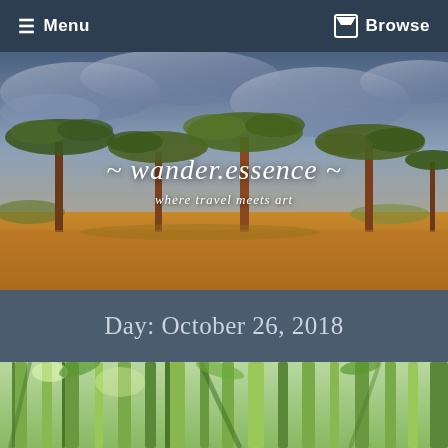≡ Menu   ☐ Browse
[Figure (photo): African savanna landscape at golden hour with acacia trees against a dramatic cloudy sky, warm orange earth tones]
~ wander.essence ~
where travel meets art
Day: October 26, 2018
[Figure (photo): Looking up through tall bamboo forest with green canopy and bright light filtering through]